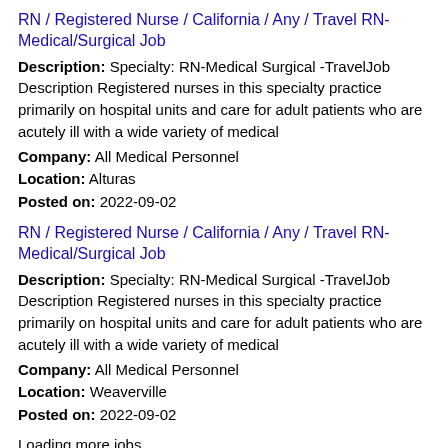RN / Registered Nurse / California / Any / Travel RN-Medical/Surgical Job
Description: Specialty: RN-Medical Surgical -TravelJob Description Registered nurses in this specialty practice primarily on hospital units and care for adult patients who are acutely ill with a wide variety of medical
Company: All Medical Personnel
Location: Alturas
Posted on: 2022-09-02
RN / Registered Nurse / California / Any / Travel RN-Medical/Surgical Job
Description: Specialty: RN-Medical Surgical -TravelJob Description Registered nurses in this specialty practice primarily on hospital units and care for adult patients who are acutely ill with a wide variety of medical
Company: All Medical Personnel
Location: Weaverville
Posted on: 2022-09-02
Loading more jobs...
Welcome, .
My account
Logout